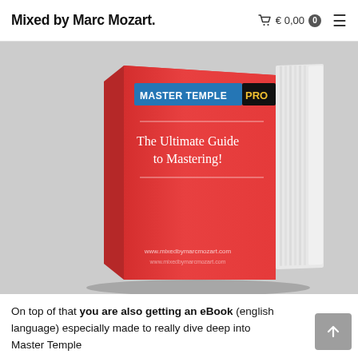Mixed by Marc Mozart.  € 0,00  0
[Figure (photo): 3D render of a red book/ebook titled 'MASTER TEMPLE PRO – The Ultimate Guide to Mastering!' with www.mixedbymarcmozart.com printed on it, shown at an angle on a grey background.]
On top of that you are also getting an eBook (english language) especially made to really dive deep into Master Temple